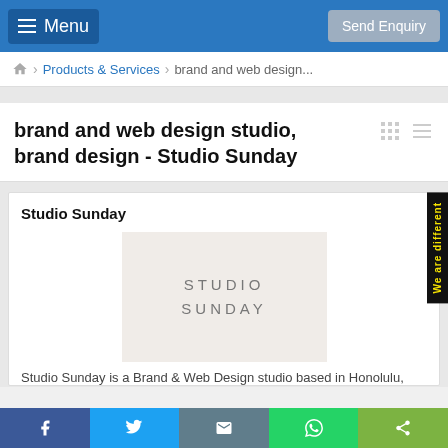Menu | Send Enquiry
Home > Products & Services > brand and web design...
brand and web design studio, brand design - Studio Sunday
Studio Sunday
[Figure (logo): Studio Sunday logo on light beige background with text STUDIO SUNDAY in spaced light gray letters]
Studio Sunday is a Brand & Web Design studio based in Honolulu,
Facebook | Twitter | Email | WhatsApp | Share